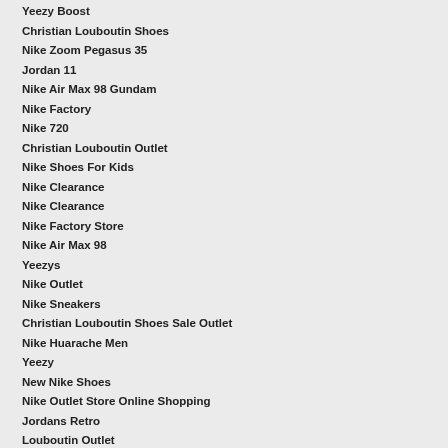Yeezy Boost
Christian Louboutin Shoes
Nike Zoom Pegasus 35
Jordan 11
Nike Air Max 98 Gundam
Nike Factory
Nike 720
Christian Louboutin Outlet
Nike Shoes For Kids
Nike Clearance
Nike Clearance
Nike Factory Store
Nike Air Max 98
Yeezys
Nike Outlet
Nike Sneakers
Christian Louboutin Shoes Sale Outlet
Nike Huarache Men
Yeezy
New Nike Shoes
Nike Outlet Store Online Shopping
Jordans Retro
Louboutin Outlet